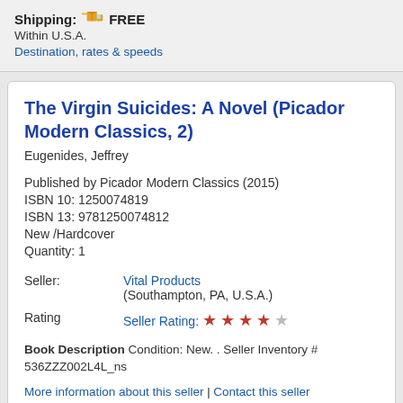Shipping: FREE
Within U.S.A.
Destination, rates & speeds
The Virgin Suicides: A Novel (Picador Modern Classics, 2)
Eugenides, Jeffrey
Published by Picador Modern Classics (2015)
ISBN 10: 1250074819
ISBN 13: 9781250074812
New / Hardcover
Quantity: 1
|  |  |
| --- | --- |
| Seller: | Vital Products
(Southampton, PA, U.S.A.) |
| Rating | Seller Rating: ★★★★☆ |
Book Description Condition: New. . Seller Inventory # 536ZZZ002L4L_ns
More information about this seller | Contact this seller